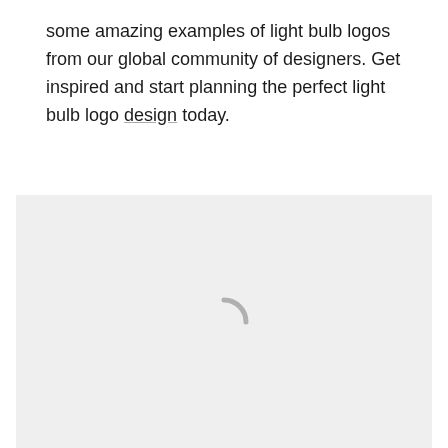some amazing examples of light bulb logos from our global community of designers. Get inspired and start planning the perfect light bulb logo design today.
[Figure (other): A light gray loading placeholder area with a spinner/loading indicator (partial circle arc) centered within it, indicating content is being loaded.]